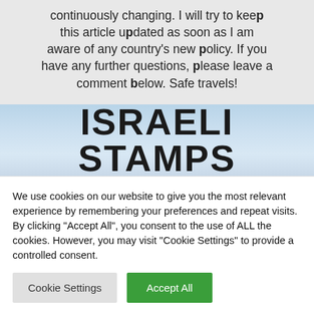continuously changing. I will try to keep this article updated as soon as I am aware of any country's new policy. If you have any further questions, please leave a comment below. Safe travels!
[Figure (photo): Sky background image with bold text 'ISRAELI STAMPS' overlaid in large black font]
We use cookies on our website to give you the most relevant experience by remembering your preferences and repeat visits. By clicking "Accept All", you consent to the use of ALL the cookies. However, you may visit "Cookie Settings" to provide a controlled consent.